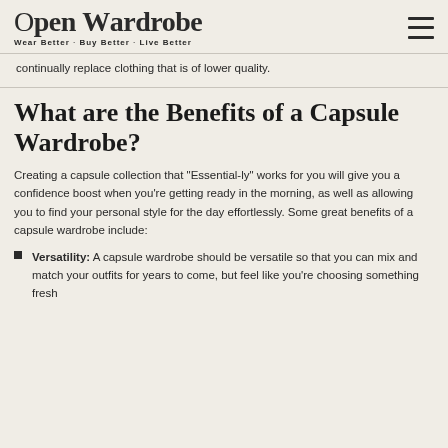Open Wardrobe — Wear Better · Buy Better · Live Better
continually replace clothing that is of lower quality.
What are the Benefits of a Capsule Wardrobe?
Creating a capsule collection that "Essential-ly" works for you will give you a confidence boost when you're getting ready in the morning, as well as allowing you to find your personal style for the day effortlessly. Some great benefits of a capsule wardrobe include:
Versatility: A capsule wardrobe should be versatile so that you can mix and match your outfits for years to come, but feel like you're choosing something fresh